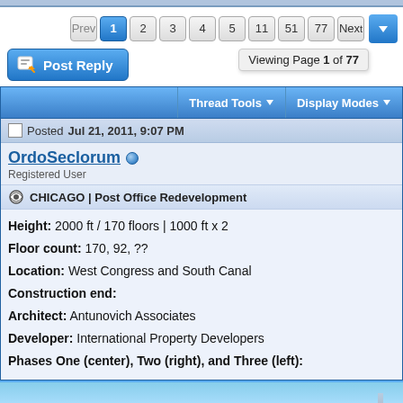Prev 1 2 3 4 5 11 51 77 Next — Viewing Page 1 of 77
Post Reply
Thread Tools ▼   Display Modes ▼
Posted Jul 21, 2011, 9:07 PM
OrdoSeclorum
Registered User
CHICAGO | Post Office Redevelopment
Height: 2000 ft / 170 floors | 1000 ft x 2
Floor count: 170, 92, ??
Location: West Congress and South Canal
Construction end:
Architect: Antunovich Associates
Developer: International Property Developers
Phases One (center), Two (right), and Three (left):
[Figure (photo): Architectural rendering of the Chicago Post Office redevelopment project showing tall buildings against a blue sky]